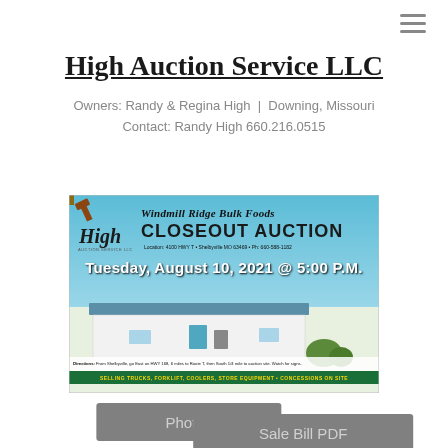High Auction Service LLC
Owners: Randy & Regina High | Downing, Missouri
Contact: Randy High 660.216.0515
[Figure (photo): Windmill Ridge Bulk Foods Closeout Auction banner. Text: Tuesday, August 10, 2021 @ 5:00 P.M. Location: 4100 HWY T - Shelbyville MO 63469. Shows a white building with blue roof. Directions from Shelbyville. Selling trucks, forklift, coolers, store equipment.]
Photos
Sale Bill PDF